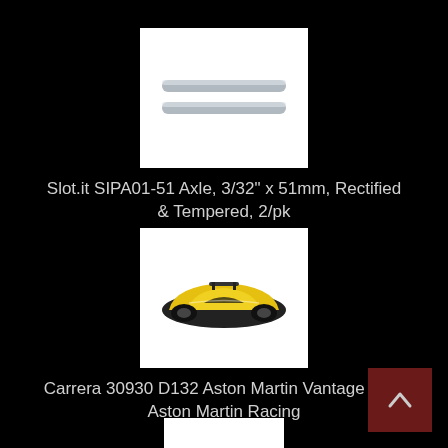[Figure (photo): Two metal axle rods side by side on white background]
Slot.it SIPA01-51 Axle, 3/32" x 51mm, Rectified & Tempered, 2/pk
$3.99
[Figure (photo): Yellow Aston Martin Vantage GTE slot car model on white background]
Carrera 30930 D132 Aston Martin Vantage GTE Aston Martin Racing
$52.99